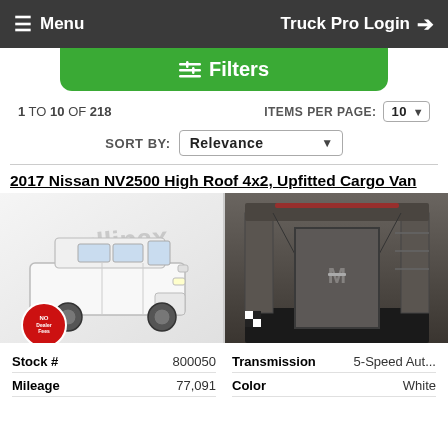Menu   Truck Pro Login
Filters
1 TO 10 OF 218    ITEMS PER PAGE: 10
SORT BY: Relevance
2017 Nissan NV2500 High Roof 4x2, Upfitted Cargo Van
[Figure (photo): White 2017 Nissan NV2500 cargo van exterior front-side view with Mullinax watermark, and a no-fee badge in the bottom left corner]
[Figure (photo): Interior rear view of white cargo van showing empty cargo area with black floor mat and metal shelving/partitions]
| Stock # |  | Transmission |  |
| --- | --- | --- | --- |
| Stock # | 800050 | Transmission | 5-Speed Aut... |
| Mileage | 77,091 | Color | White |